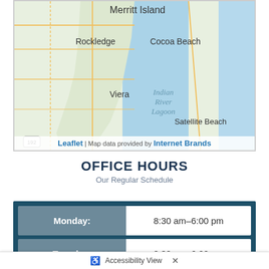[Figure (map): Street map showing Merritt Island, Rockledge, Cocoa Beach, Viera, Indian River Lagoon, and Satellite Beach in Florida. Map attribution: Leaflet | Map data provided by Internet Brands.]
OFFICE HOURS
Our Regular Schedule
| Day | Hours |
| --- | --- |
| Monday: | 8:30 am–6:00 pm |
| Tuesday: | 8:30 am–6:00 pm |
Accessibility View